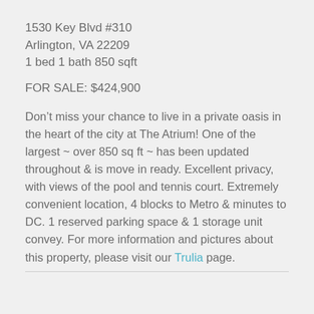1530 Key Blvd #310
Arlington, VA 22209
1 bed 1 bath 850 sqft
FOR SALE: $424,900
Don’t miss your chance to live in a private oasis in the heart of the city at The Atrium! One of the largest ~ over 850 sq ft ~ has been updated throughout & is move in ready. Excellent privacy, with views of the pool and tennis court. Extremely convenient location, 4 blocks to Metro & minutes to DC. 1 reserved parking space & 1 storage unit convey. For more information and pictures about this property, please visit our Trulia page.